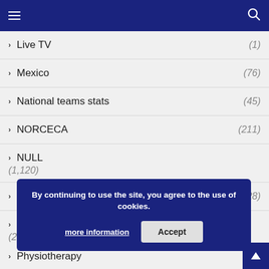Navigation header with menu and search icons
Live TV (1)
Mexico (76)
National teams stats (45)
NORCECA (211)
NULL (1,120)
Nutrition and Supplements (28)
Other countries (28)
Physiotherapy (1)
By continuing to use the site, you agree to the use of cookies. more information Accept